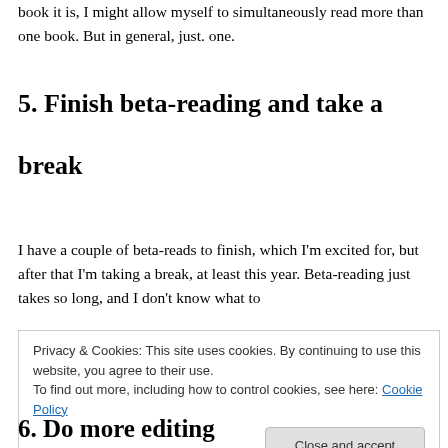book it is, I might allow myself to simultaneously read more than one book. But in general, just. one.
5. Finish beta-reading and take a break
I have a couple of beta-reads to finish, which I'm excited for, but after that I'm taking a break, at least this year. Beta-reading just takes so long, and I don't know what to
Privacy & Cookies: This site uses cookies. By continuing to use this website, you agree to their use.
To find out more, including how to control cookies, see here: Cookie Policy
6. Do more editing